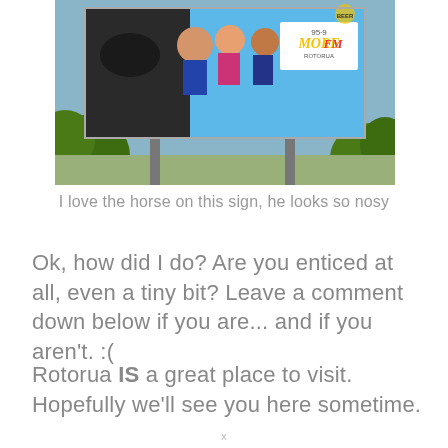[Figure (photo): A billboard featuring people and a horse peeking into the frame, with a 95.9 More FM Rotorua logo on the right side. The billboard is mounted on poles with foliage visible below.]
I love the horse on this sign, he looks so nosy
Ok, how did I do? Are you enticed at all, even a tiny bit? Leave a comment down below if you are... and if you aren't. :(
Rotorua IS a great place to visit. Hopefully we'll see you here sometime.
x